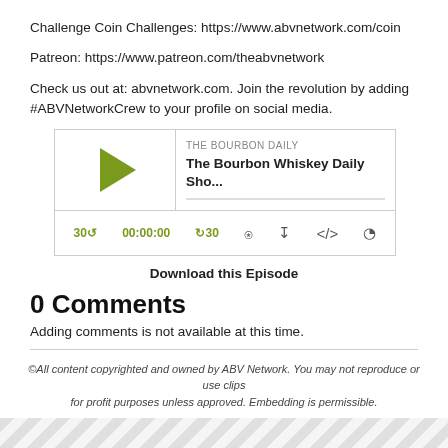Challenge Coin Challenges: https://www.abvnetwork.com/coin
Patreon: https://www.patreon.com/theabvnetwork
Check us out at: abvnetwork.com. Join the revolution by adding #ABVNetworkCrew to your profile on social media.
[Figure (screenshot): Podcast player widget for 'The Bourbon Whiskey Daily Sho...' on THE BOURBON DAILY, showing play button, progress bar, and controls including 30s skip back, 00:00:00 timestamp, 30s skip forward, and icons for RSS, download, embed, and share.]
Download this Episode
0 Comments
Adding comments is not available at this time.
©All content copyrighted and owned by ABV Network. You may not reproduce or use clips for profit purposes unless approved. Embedding is permissible.